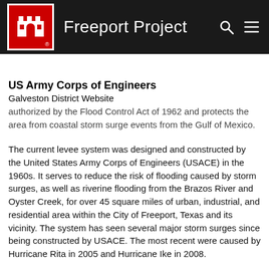Freeport Project — US Army Corps of Engineers, Galveston District Website
The Freeport Project is one of three projects included in the ... Freeport and its vicinity ... protection system that was authorized by the Flood Control Act of 1962 and protects the area from coastal storm surge events from the Gulf of Mexico.
The current levee system was designed and constructed by the United States Army Corps of Engineers (USACE) in the 1960s. It serves to reduce the risk of flooding caused by storm surges, as well as riverine flooding from the Brazos River and Oyster Creek, for over 45 square miles of urban, industrial, and residential area within the City of Freeport, Texas and its vicinity.  The system has seen several major storm surges since being constructed by USACE.  The most recent were caused by Hurricane Rita in 2005 and Hurricane Ike in 2008.
The non-federal sponsor for this project is the Velasco Drainage District (VDD).  The Freeport Project is cost shared 65/35 between the federal government and the non-federal sponsor respectively.  The 86th Texas Legislature passed SB500 and SB2212 to assist the non-federal sponsors with their non-federal contributions.